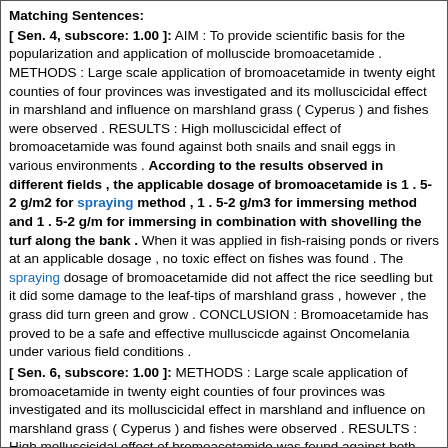Matching Sentences:
[ Sen. 4, subscore: 1.00 ]: AIM : To provide scientific basis for the popularization and application of molluscide bromoacetamide . METHODS : Large scale application of bromoacetamide in twenty eight counties of four provinces was investigated and its molluscicidal effect in marshland and influence on marshland grass ( Cyperus ) and fishes were observed . RESULTS : High molluscicidal effect of bromoacetamide was found against both snails and snail eggs in various environments . According to the results observed in different fields , the applicable dosage of bromoacetamide is 1 . 5-2 g/m2 for spraying method , 1 . 5-2 g/m3 for immersing method and 1 . 5-2 g/m for immersing in combination with shovelling the turf along the bank . When it was applied in fish-raising ponds or rivers at an applicable dosage , no toxic effect on fishes was found . The spraying dosage of bromoacetamide did not affect the rice seedling but it did some damage to the leaf-tips of marshland grass , however , the grass did turn green and grow . CONCLUSION : Bromoacetamide has proved to be a safe and effective mulluscicde against Oncomelania under various field conditions .
[ Sen. 6, subscore: 1.00 ]: METHODS : Large scale application of bromoacetamide in twenty eight counties of four provinces was investigated and its molluscicidal effect in marshland and influence on marshland grass ( Cyperus ) and fishes were observed . RESULTS : High molluscicidal effect of bromoacetamide was found against both snails and snail eggs in various environments . According to the results observed in different fields , the applicable dosage of bromoacetamide is 1 . 5-2 g/m2 for spraying method , 1 . 5-2 g/m3 for immersing method and 1 . 5-2 g/m for immersing in combination with shovelling the turf along the bank . When it was applied in fish-raising ponds or rivers at an applicable dosage , no toxic effect on fishes was found . The spraying